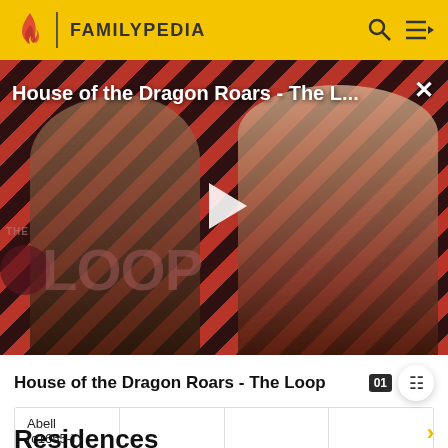FAMILYPEDIA
[Figure (screenshot): Video thumbnail for 'House of the Dragon Roars - The Loop' showing two characters against a diagonal red and dark striped background with 'THE LOOP' text overlay and a play button]
House of the Dragon Roars - The Loop
| Abell
(c1655-) |  |  |  |
Residences